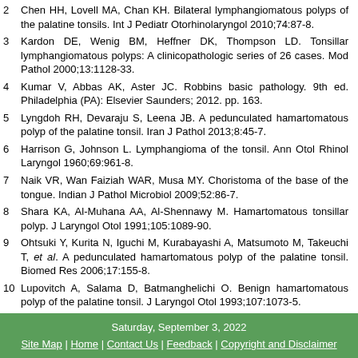2  Chen HH, Lovell MA, Chan KH. Bilateral lymphangiomatous polyps of the palatine tonsils. Int J Pediatr Otorhinolaryngol 2010;74:87-8.
3  Kardon DE, Wenig BM, Heffner DK, Thompson LD. Tonsillar lymphangiomatous polyps: A clinicopathologic series of 26 cases. Mod Pathol 2000;13:1128-33.
4  Kumar V, Abbas AK, Aster JC. Robbins basic pathology. 9th ed. Philadelphia (PA): Elsevier Saunders; 2012. pp. 163.
5  Lyngdoh RH, Devaraju S, Leena JB. A pedunculated hamartomatous polyp of the palatine tonsil. Iran J Pathol 2013;8:45-7.
6  Harrison G, Johnson L. Lymphangioma of the tonsil. Ann Otol Rhinol Laryngol 1960;69:961-8.
7  Naik VR, Wan Faiziah WAR, Musa MY. Choristoma of the base of the tongue. Indian J Pathol Microbiol 2009;52:86-7.
8  Shara KA, Al-Muhana AA, Al-Shennawy M. Hamartomatous tonsillar polyp. J Laryngol Otol 1991;105:1089-90.
9  Ohtsuki Y, Kurita N, Iguchi M, Kurabayashi A, Matsumoto M, Takeuchi T, et al. A pedunculated hamartomatous polyp of the palatine tonsil. Biomed Res 2006;17:155-8.
10  Lupovitch A, Salama D, Batmanghelichi O. Benign hamartomatous polyp of the palatine tonsil. J Laryngol Otol 1993;107:1073-5.
Saturday, September 3, 2022
Site Map | Home | Contact Us | Feedback | Copyright and Disclaimer